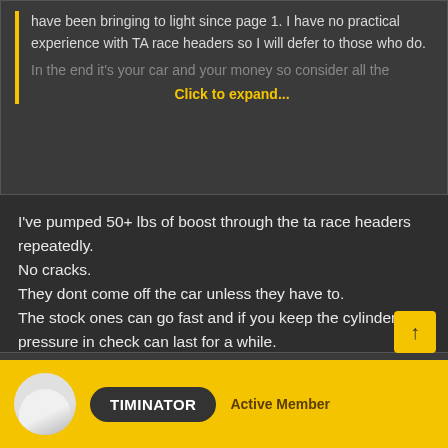have been bringing to light since page 1. I have no practical experience with TA race headers so I will defer to those who do. In the end it's your car and your money so consider all the
Click to expand...
I've pumped 50+ lbs of boost through the ta race headers repeatedly.
No cracks.
They dont come off the car unless they have to.
The stock ones can go fast and if you keep the cylinder pressure in check can last for a while.
Not sure about stock replacements but those with combo issues will have
other issues 😎
👍 Chuck Leeper
TIMINATOR   Active Member